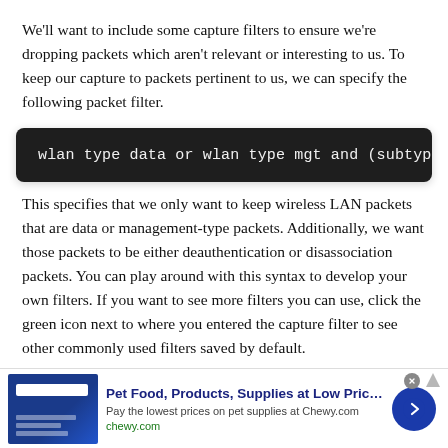We'll want to include some capture filters to ensure we're dropping packets which aren't relevant or interesting to us. To keep our capture to packets pertinent to us, we can specify the following packet filter.
This specifies that we only want to keep wireless LAN packets that are data or management-type packets. Additionally, we want those packets to be either deauthentication or disassociation packets. You can play around with this syntax to develop your own filters. If you want to see more filters you can use, click the green icon next to where you entered the capture filter to see other commonly used filters saved by default.
[Figure (other): Advertisement banner: Pet Food, Products, Supplies at Low Prices - Chewy.com. Shows a blue branded image on the left, ad text in the middle, and a blue circular arrow button on the right.]